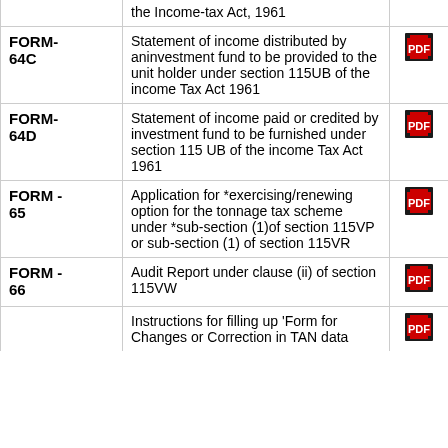| Form | Description | PDF | Word | Excel |
| --- | --- | --- | --- | --- |
|  | the Income-tax Act, 1961 | [pdf] |  |  |
| FORM-64C | Statement of income distributed by aninvestment fund to be provided to the unit holder under section 115UB of the income Tax Act 1961 | [pdf] | [word] |  |
| FORM-64D | Statement of income paid or credited by investment fund to be furnished under section 115 UB of the income Tax Act 1961 | [pdf] | [word] |  |
| FORM - 65 | Application for *exercising/renewing option for the tonnage tax scheme under *sub-section (1)of section 115VP or sub-section (1) of section 115VR | [pdf] | [word] | [excel] |
| FORM - 66 | Audit Report under clause (ii) of section 115VW | [pdf] | [nav] | [excel] |
|  | Instructions for filling up 'Form for Changes or Correction in TAN data | [pdf] |  |  |